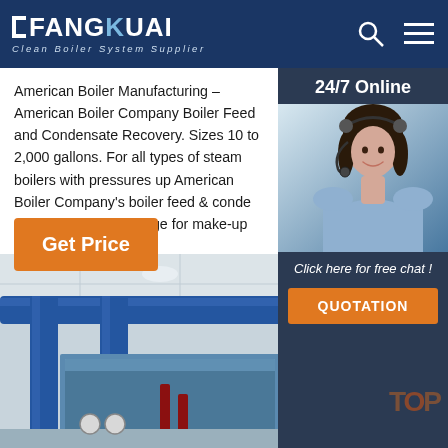FANGKUAI Clean Boiler System Supplier
American Boiler Manufacturing – American Boiler Company Boiler Feed and Condensate Recovery. Sizes 10 to 2,000 gallons. For all types of steam boilers with pressures up American Boiler Company's boiler feed & conde systems provide storage for make-up water and
[Figure (screenshot): Orange 'Get Price' button]
[Figure (photo): Industrial boiler room with large blue pipes and red pipes, blue equipment visible]
[Figure (photo): 24/7 Online chat panel with female customer service agent wearing headset, with 'Click here for free chat!' text and QUOTATION button]